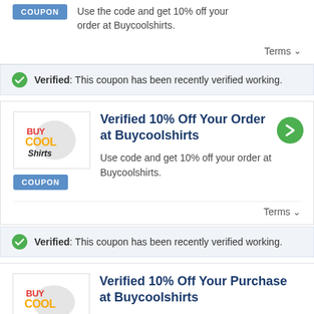Use the code and get 10% off your order at Buycoolshirts.
Terms ∨
Verified: This coupon has been recently verified working.
Verified 10% Off Your Order at Buycoolshirts
Use code and get 10% off your order at Buycoolshirts.
Terms ∨
Verified: This coupon has been recently verified working.
Verified 10% Off Your Purchase at Buycoolshirts